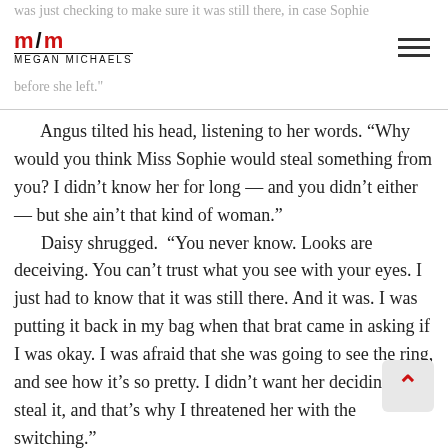was just checking to make sure it was still there, in case Sophie from [logo: megan michaels] before she left.
Angus tilted his head, listening to her words. “Why would you think Miss Sophie would steal something from you? I didn’t know her for long — and you didn’t either — but she ain’t that kind of woman.”

Daisy shrugged. “You never know. Looks are deceiving. You can’t trust what you see with your eyes. I just had to know that it was still there. And it was. I was putting it back in my bag when that brat came in asking if I was okay. I was afraid that she was going to see the ring, and see how it’s so pretty. I didn’t want her deciding to steal it, and that’s why I threatened her with the switching.”

Angus glared at